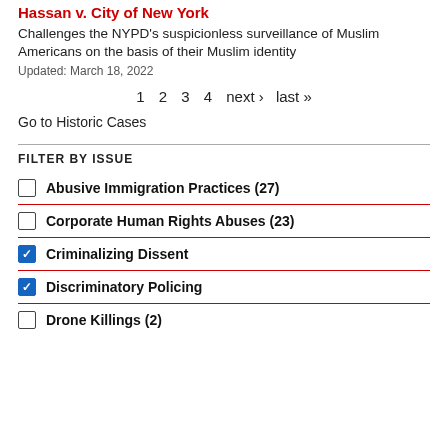Hassan v. City of New York
Challenges the NYPD's suspicionless surveillance of Muslim Americans on the basis of their Muslim identity
Updated: March 18, 2022
1 2 3 4 next › last »
Go to Historic Cases
FILTER BY ISSUE
Abusive Immigration Practices (27)
Corporate Human Rights Abuses (23)
Criminalizing Dissent
Discriminatory Policing
Drone Killings (2)